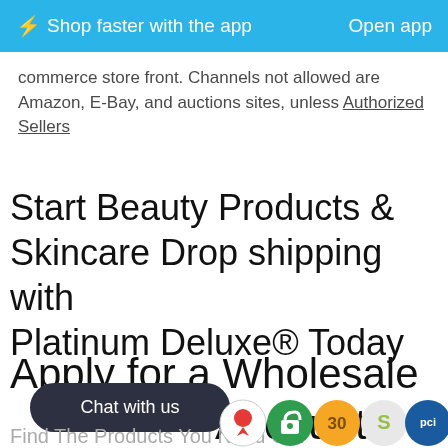⚡Shop faster with the app    Open app
commerce store front. Channels not allowed are Amazon, E-Bay, and auctions sites, unless Authorized Sellers
Start Beauty Products  & Skincare Drop shipping with Platinum Deluxe® Today
Apply for a Wholesale Account
Chat with us
Find The Products You Need Get